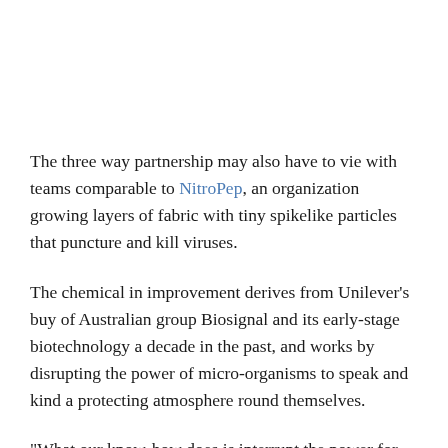The three way partnership may also have to vie with teams comparable to NitroPep, an organization growing layers of fabric with tiny spikelike particles that puncture and kill viruses.
The chemical in improvement derives from Unilever's buy of Australian group Biosignal and its early-stage biotechnology a decade in the past, and works by disrupting the power of micro-organisms to speak and kind a protecting atmosphere round themselves.
“What our know-how does is interrupt the power for micro organism to talk to at least one one other so that they don’t kind a biofilm within the first place. Somewhat than attempting to